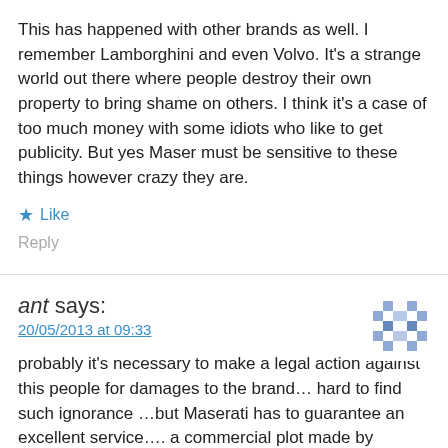This has happened with other brands as well. I remember Lamborghini and even Volvo. It's a strange world out there where people destroy their own property to bring shame on others. I think it's a case of too much money with some idiots who like to get publicity. But yes Maser must be sensitive to these things however crazy they are.
Like
Reply
ant says:
20/05/2013 at 09:33
probably it's necessary to make a legal action against this people for damages to the brand… hard to find such ignorance …but Maserati has to guarantee an excellent service…. a commercial plot made by competitors? it would be vary sad !